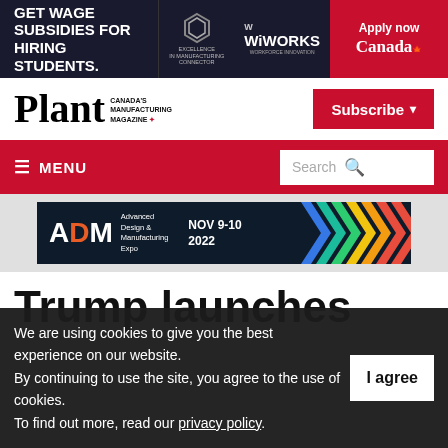[Figure (infographic): Advertisement banner: GET WAGE SUBSIDIES FOR HIRING STUDENTS. WIWorks logo with Canada branding and Apply now button in red.]
Plant Canada's Manufacturing Magazine - Subscribe
[Figure (infographic): Navigation bar with MENU hamburger icon and Search box on red background.]
[Figure (infographic): ADM Advanced Design & Manufacturing Expo NOV 9-10 2022 banner with colorful chevron arrows on dark background.]
Trump launches
We are using cookies to give you the best experience on our website.
By continuing to use the site, you agree to the use of cookies.
To find out more, read our privacy policy.